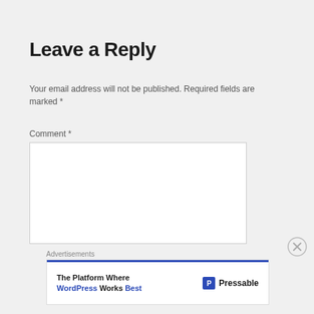Leave a Reply
Your email address will not be published. Required fields are marked *
Comment *
[Figure (other): Empty comment text area input box]
Advertisements
[Figure (other): Advertisement banner: 'The Platform Where WordPress Works Best' with Pressable logo]